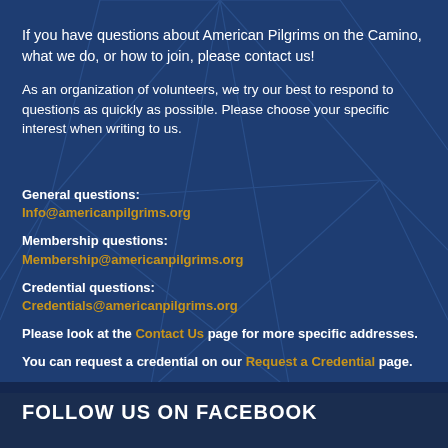If you have questions about American Pilgrims on the Camino, what we do, or how to join, please contact us!
As an organization of volunteers, we try our best to respond to questions as quickly as possible. Please choose your specific interest when writing to us.
General questions: Info@americanpilgrims.org
Membership questions: Membership@americanpilgrims.org
Credential questions: Credentials@americanpilgrims.org
Please look at the Contact Us page for more specific addresses.
You can request a credential on our Request a Credential page.
FOLLOW US ON FACEBOOK